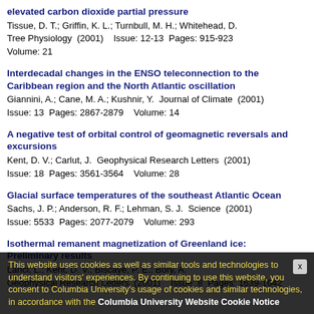elevated carbon dioxide partial pressure
Tissue, D. T.; Griffin, K. L.; Turnbull, M. H.; Whitehead, D.
Tree Physiology (2001) Issue: 12-13 Pages: 915-923 Volume: 21
Interdecadal changes in the ENSO teleconnection to the Caribbean region and the North Atlantic oscillation
Giannini, A.; Cane, M. A.; Kushnir, Y. Journal of Climate (2001) Issue: 13 Pages: 2867-2879 Volume: 14
A negative test of orbital control of geomagnetic reversals and excursions
Kent, D. V.; Carlut, J. Geophysical Research Letters (2001) Issue: 18 Pages: 3561-3564 Volume: 28
Glacial surface temperatures of the southeast Atlantic Ocean
Sachs, J. P.; Anderson, R. F.; Lehman, S. J. Science (2001) Issue: 5533 Pages: 2077-2079 Volume: 293
Isothermal remanent magnetization of Greenland ice: Preliminary results
Lanci, L.; Kent, D. V.; Biscaye, P. E.; Bory, A.
Geophysical Research Letters (2001) Issue: 8 Pages: 1639-1642 Volume: 28
This website uses cookies as well as similar tools and technologies to understand visitors' experiences. By continuing to use this website, you consent to Columbia University's usage of cookies and similar technologies, in accordance with the Columbia University Website Cookie Notice